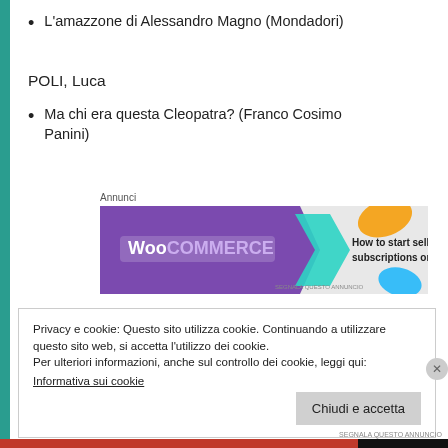L'amazzone di Alessandro Magno (Mondadori)
POLI, Luca
Ma chi era questa Cleopatra? (Franco Cosimo Panini)
Annunci
[Figure (screenshot): WooCommerce advertisement banner: purple background with WooCommerce logo, teal arrow shape, orange shape, blue shape, text 'How to start selling subscriptions online']
Privacy e cookie: Questo sito utilizza cookie. Continuando a utilizzare questo sito web, si accetta l'utilizzo dei cookie.
Per ulteriori informazioni, anche sul controllo dei cookie, leggi qui:
Informativa sui cookie
Chiudi e accetta